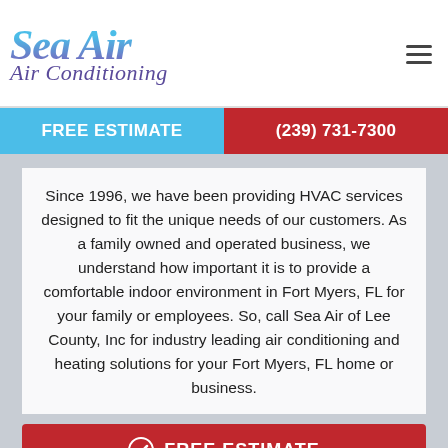[Figure (logo): Sea Air Air Conditioning logo in blue and purple italic script]
FREE ESTIMATE
(239) 731-7300
Since 1996, we have been providing HVAC services designed to fit the unique needs of our customers. As a family owned and operated business, we understand how important it is to provide a comfortable indoor environment in Fort Myers, FL for your family or employees. So, call Sea Air of Lee County, Inc for industry leading air conditioning and heating solutions for your Fort Myers, FL home or business.
FREE ESTIMATE
(239) 731-7300